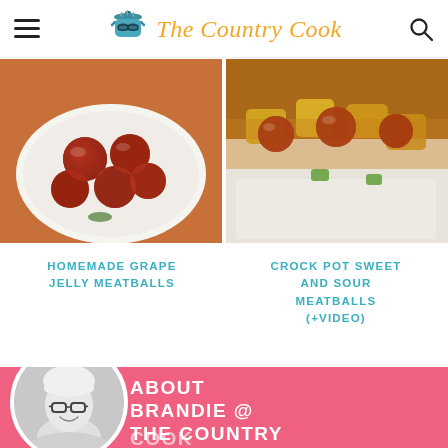The Country Cook
[Figure (photo): Bowl of glossy grape jelly meatballs on a white plate]
[Figure (photo): Crock pot sweet and sour meatballs with pineapple chunks and white rice]
HOMEMADE GRAPE JELLY MEATBALLS
CROCK POT SWEET AND SOUR MEATBALLS (+VIDEO)
[Figure (photo): Black and white photo of Brandie, a woman with bangs and glasses, smiling — circular crop on pink background]
ABOUT BRANDIE @ THE COUNTRY COOK